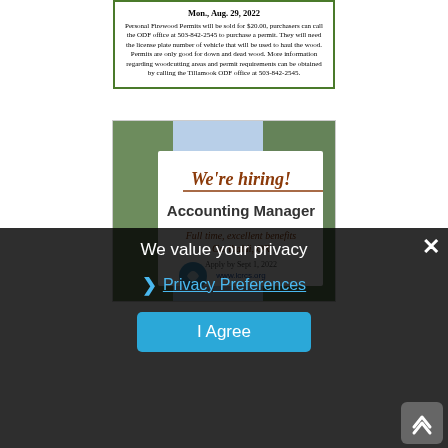Mon., Aug. 29, 2022
Personal Firewood Permits will be sold for $20.00, purchasers can call the ODF office at 503-842-2545 to purchase a permit. They will need the license plate number of vehicle that will be used to haul the wood. Permits are only good for down and dead wood. More information regarding woodcutting areas and permit requirements can be obtained by calling the Tillamook ODF office at 503-842-2545.
[Figure (photo): Hiring advertisement sign reading 'We're hiring! Accounting Manager, Full time, excellent benefits, Garibaldi, OR, Apply by Sept 1, 2022, www.lcrcs.org' with outdoor nature background]
We value your privacy
Privacy Preferences
I Agree